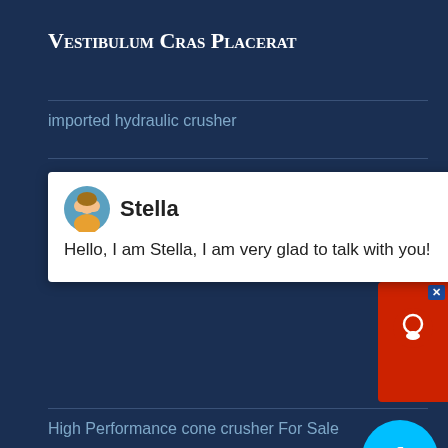Vestibulum Cras Placerat
imported hydraulic crusher
strong crushing capacity cone crusher 1000 ton per hour price
[Figure (screenshot): Chat popup from Stella: 'Hello, I am Stella, I am very glad to talk with you!']
High Performance cone crusher For Sale
Vulputate Cum Sociis
Diam nulla id condimentum magna scelerisque ac suspendisse viverra est purus